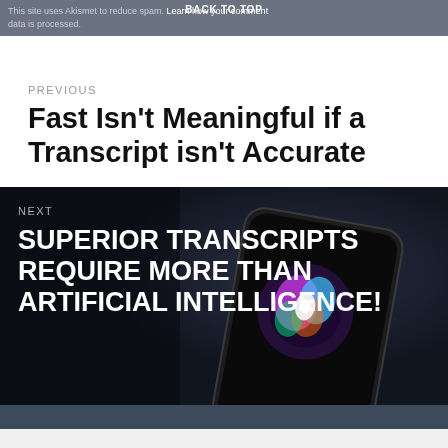This site uses Akismet to reduce spam. Learn how your comment data is processed.
BACK TO TOP
PREVIOUS
Fast Isn't Meaningful if a Transcript isn't Accurate
[Figure (photo): Dark smartphone with colorful Siri voice assistant waveform graphic displayed on screen, overlaid with navigation text for next article]
NEXT
SUPERIOR TRANSCRIPTS REQUIRE MORE THAN ARTIFICIAL INTELLIGENCE!